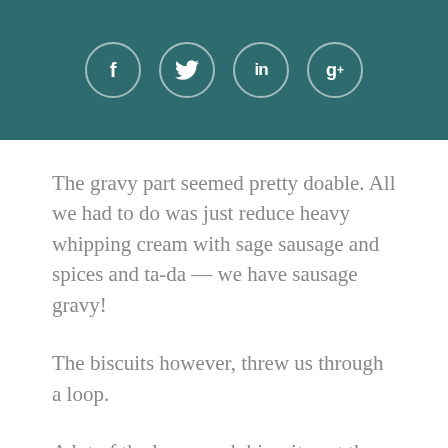[Figure (other): Social media share icons: Facebook (f), Twitter (bird), LinkedIn (in), Google+ (g+) displayed as circle buttons on a teal background header bar]
The gravy part seemed pretty doable. All we had to do was just reduce heavy whipping cream with sage sausage and spices and ta-da — we have sausage gravy!
The biscuits however, threw us through a loop.
A lot of the lower carb biscuits out there are lacking in flavor still typically contain wheat flour. Since wheat is simply not an option for me